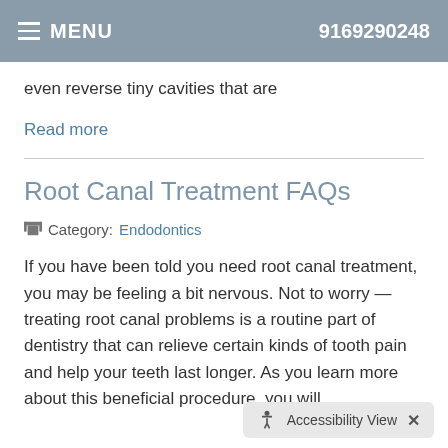MENU  9169290248
even reverse tiny cavities that are
Read more
Root Canal Treatment FAQs
Category: Endodontics
If you have been told you need root canal treatment, you may be feeling a bit nervous. Not to worry — treating root canal problems is a routine part of dentistry that can relieve certain kinds of tooth pain and help your teeth last longer. As you learn more about this beneficial procedure, you will
Accessibility View